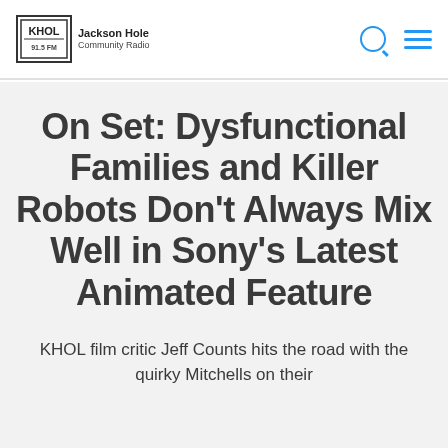KHOL Jackson Hole Community Radio
On Set: Dysfunctional Families and Killer Robots Don't Always Mix Well in Sony's Latest Animated Feature
KHOL film critic Jeff Counts hits the road with the quirky Mitchells on their